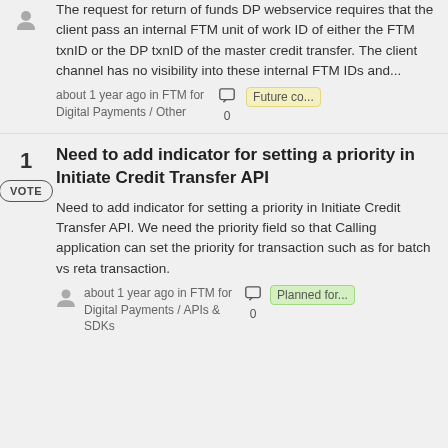The request for return of funds DP webservice requires that the client pass an internal FTM unit of work ID of either the FTM txnID or the DP txnID of the master credit transfer. The client channel has no visibility into these internal FTM IDs and...
about 1 year ago in FTM for Digital Payments / Other  0  Future co...
1 VOTE
Need to add indicator for setting a priority in Initiate Credit Transfer API
Need to add indicator for setting a priority in Initiate Credit Transfer API. We need the priority field so that Calling application can set the priority for transaction such as for batch vs reta transaction.
about 1 year ago in FTM for Digital Payments / APIs & SDKs  0  Planned for...